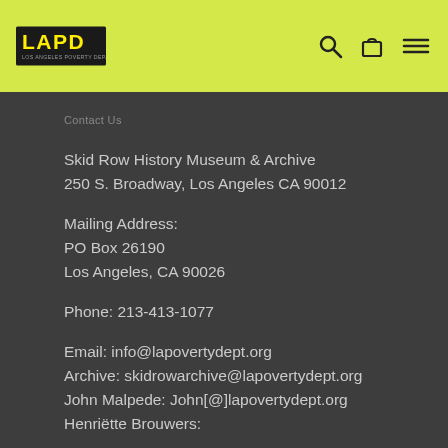LAPD Los Angeles Poverty Department — header with logo and navigation icons
Contact Us
Skid Row History Museum & Archive
250 S. Broadway, Los Angeles CA 90012
Mailing Address:
PO Box 26190
Los Angeles, CA 90026
Phone: 213-413-1077
Email: info@lapovertydept.org
Archive: skidrowarchive@lapovertydept.org
John Malpede: John[@]lapovertydept.org
Henriëtte Brouwers: